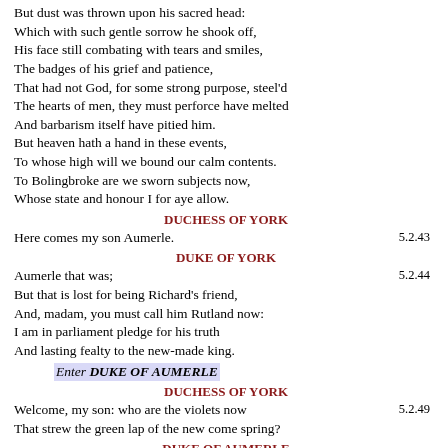But dust was thrown upon his sacred head:
Which with such gentle sorrow he shook off,
His face still combating with tears and smiles,
The badges of his grief and patience,
That had not God, for some strong purpose, steel'd
The hearts of men, they must perforce have melted
And barbarism itself have pitied him.
But heaven hath a hand in these events,
To whose high will we bound our calm contents.
To Bolingbroke are we sworn subjects now,
Whose state and honour I for aye allow.
DUCHESS OF YORK
5.2.43
Here comes my son Aumerle.
DUKE OF YORK
5.2.44
Aumerle that was;
But that is lost for being Richard's friend,
And, madam, you must call him Rutland now:
I am in parliament pledge for his truth
And lasting fealty to the new-made king.
Enter DUKE OF AUMERLE
DUCHESS OF YORK
5.2.49
Welcome, my son: who are the violets now
That strew the green lap of the new come spring?
DUKE OF AUMERLE
5.2.51